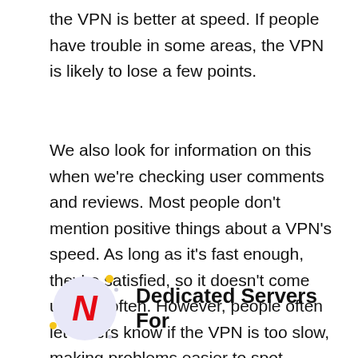the VPN is better at speed. If people have trouble in some areas, the VPN is likely to lose a few points.
We also look for information on this when we’re checking user comments and reviews. Most people don’t mention positive things about a VPN’s speed. As long as it’s fast enough, they’re satisfied, so it doesn’t come up very often. However, people often let others know if the VPN is too slow, making problems easier to spot.
[Figure (logo): Netflix logo: red N letter inside a light purple/lavender circle, with small yellow and grey decorative dots around it]
Dedicated Servers For